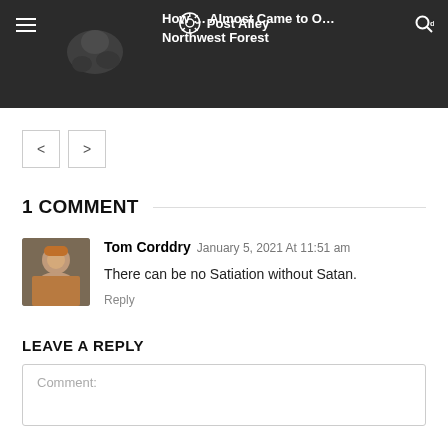How … Almost Came to Own a Northwest Forest
[Figure (screenshot): Post Alley logo with camera aperture icon in navigation bar]
< >
1 COMMENT
[Figure (photo): Avatar photo of Tom Corddry]
Tom Corddry  January 5, 2021 At 11:51 am
There can be no Satiation without Satan.
Reply
LEAVE A REPLY
Comment: